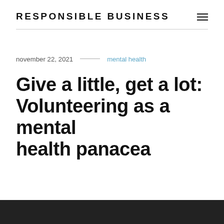RESPONSIBLE BUSINESS
november 22, 2021 — mental health
Give a little, get a lot: Volunteering as a mental health panacea
[Figure (photo): Dark photograph visible at the bottom of the page]